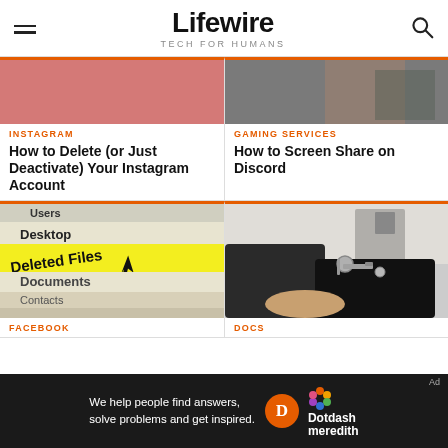Lifewire TECH FOR HUMANS
[Figure (photo): Pink/salmon colored rectangle - partial article image for Instagram article]
[Figure (photo): Person sitting - partial article image for Gaming Services article]
INSTAGRAM
How to Delete (or Just Deactivate) Your Instagram Account
GAMING SERVICES
How to Screen Share on Discord
[Figure (photo): Screenshot of file browser showing highlighted 'Deleted Files' folder among Desktop, Documents, Contacts]
[Figure (photo): Person handing keys to another person]
FACEBOOK
DOCS
[Figure (other): Dotdash Meredith advertisement banner: 'We help people find answers, solve problems and get inspired.']